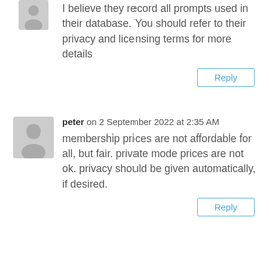I believe they record all prompts used in their database. You should refer to their privacy and licensing terms for more details
Reply
peter on 2 September 2022 at 2:35 AM
membership prices are not affordable for all, but fair. private mode prices are not ok. privacy should be given automatically, if desired.
Reply